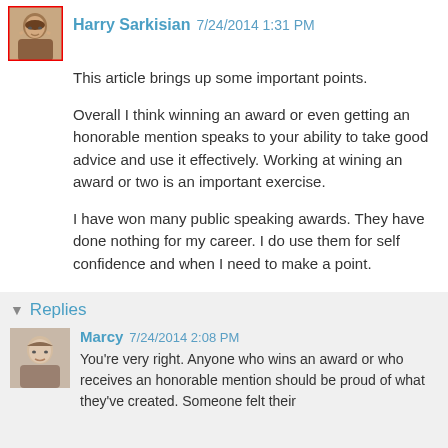Harry Sarkisian 7/24/2014 1:31 PM
This article brings up some important points.
Overall I think winning an award or even getting an honorable mention speaks to your ability to take good advice and use it effectively. Working at wining an award or two is an important exercise.
I have won many public speaking awards. They have done nothing for my career. I do use them for self confidence and when I need to make a point.
Thank you Marcy for your contribution to Fiction University and my further learning.
Reply
Replies
Marcy 7/24/2014 2:08 PM
You're very right. Anyone who wins an award or who receives an honorable mention should be proud of what they've created. Someone felt their